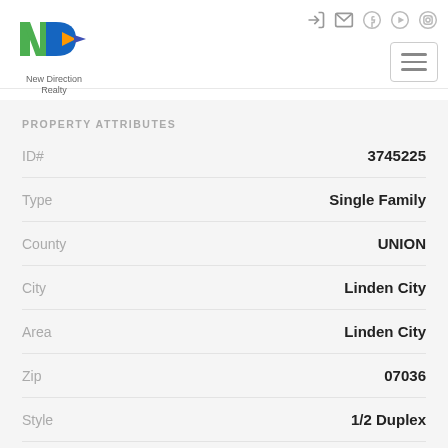[Figure (logo): New Direction Realty logo with colorful N and D letters and arrow]
PROPERTY ATTRIBUTES
| Attribute | Value |
| --- | --- |
| ID# | 3745225 |
| Type | Single Family |
| County | UNION |
| City | Linden City |
| Area | Linden City |
| Zip | 07036 |
| Style | 1/2 Duplex |
| Taxes | $ 5626 |